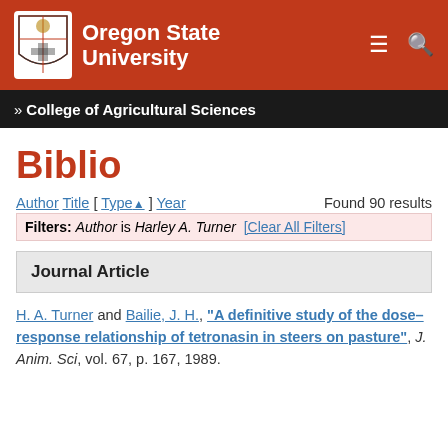[Figure (logo): Oregon State University logo with OSU shield and text]
» College of Agricultural Sciences
Biblio
Author Title [ Type▲ ] Year    Found 90 results
Filters: Author is Harley A. Turner [Clear All Filters]
Journal Article
H. A. Turner and Bailie, J. H., "A definitive study of the dose–response relationship of tetronasin in steers on pasture", J. Anim. Sci, vol. 67, p. 167, 1989.